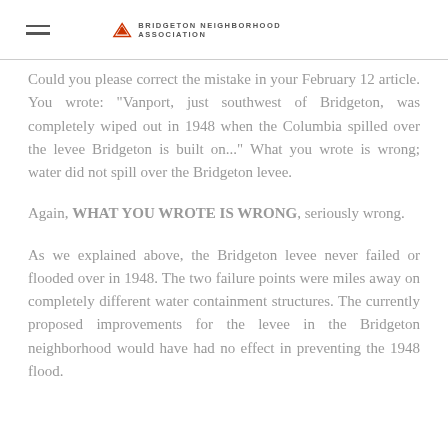BRIDGETON NEIGHBORHOOD ASSOCIATION
Could you please correct the mistake in your February 12 article. You wrote: "Vanport, just southwest of Bridgeton, was completely wiped out in 1948 when the Columbia spilled over the levee Bridgeton is built on..." What you wrote is wrong; water did not spill over the Bridgeton levee.
Again, WHAT YOU WROTE IS WRONG, seriously wrong.
As we explained above, the Bridgeton levee never failed or flooded over in 1948. The two failure points were miles away on completely different water containment structures. The currently proposed improvements for the levee in the Bridgeton neighborhood would have had no effect in preventing the 1948 flood.